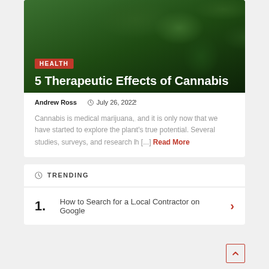[Figure (photo): Close-up photo of cannabis (marijuana) leaves with dark green background]
5 Therapeutic Effects of Cannabis
Andrew Ross   July 26, 2022
Cannabis is medical marijuana, and it is only now that we have started to explore the plant's true potential. Several studies, surveys, and research h [...] Read More
TRENDING
1. How to Search for a Local Contractor on Google